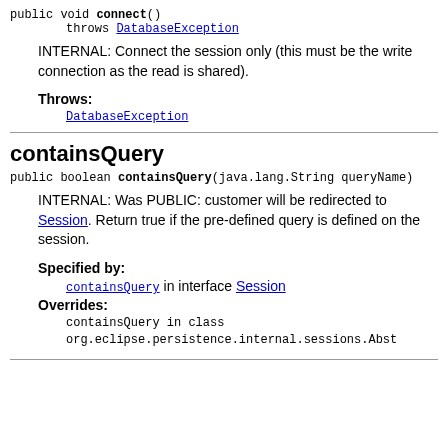public void connect()
    throws DatabaseException
INTERNAL: Connect the session only (this must be the write connection as the read is shared).
Throws:
    DatabaseException
containsQuery
public boolean containsQuery(java.lang.String queryName)
INTERNAL: Was PUBLIC: customer will be redirected to Session. Return true if the pre-defined query is defined on the session.
Specified by:
    containsQuery in interface Session
Overrides:
    containsQuery in class
    org.eclipse.persistence.internal.sessions.Abst